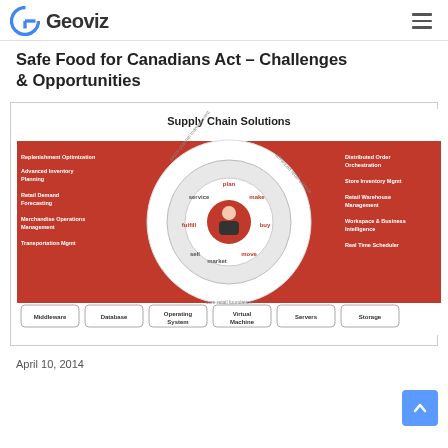Geoviz
Safe Food for Canadians Act – Challenges & Opportunities
[Figure (infographic): Supply Chain Solutions infographic showing a circular diagram with segments labeled plan, make, buy, move, market, sell, fulfill, service on a red and white background. Left side lists: Replenishment Optimization, Advanced Inventory Planning, Retail Demand Forecasting, Merchandise Operations Management, Transportation Mgmt. Right side lists: Distributed Order Orchestration, Store Inventory Mgmt, Retail Warehouse Management, Workspace & Business Intelligence, Real Time Scheduler. Outer ring labels: cross-channel management, advanced retail science, core retail foundation. Bottom row boxes: Middleware, Database, Operating System, Virtual Machine, Servers, Storage.]
April 10, 2014